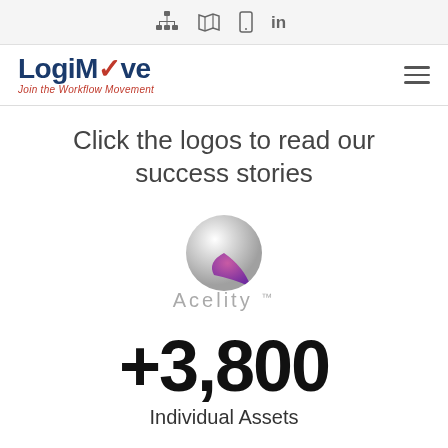Navigation icons: network, map, mobile, LinkedIn
[Figure (logo): LogiMove logo with text 'Join the Workflow Movement']
Click the logos to read our success stories
[Figure (logo): Acelity logo — silver sphere with purple/magenta accent and 'Acelity™' wordmark in gray]
+3,800
Individual Assets